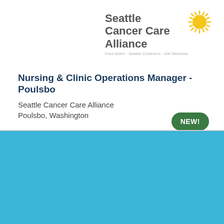[Figure (logo): Seattle Cancer Care Alliance logo with yellow sunburst icon and gray text. Tagline: Fred Hutch · Seattle Children's · UW Medicine]
Nursing & Clinic Operations Manager - Poulsbo
Seattle Cancer Care Alliance
Poulsbo, Washington
NEW!
Cookie Settings
Got it
We use cookies so that we can remember you and understand how you use our site. If you do not agree with our use of cookies, please change the current settings found in our Cookie Policy. Otherwise, you agree to the use of the cookies as they are currently set.